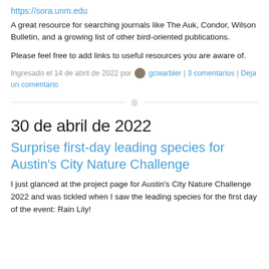https://sora.unm.edu
A great resource for searching journals like The Auk, Condor, Wilson Bulletin, and a growing list of other bird-oriented publications.
Please feel free to add links to useful resources you are aware of.
Ingresado el 14 de abril de 2022 por gcwarbler | 3 comentarios | Deja un comentario
30 de abril de 2022
Surprise first-day leading species for Austin's City Nature Challenge
I just glanced at the project page for Austin's City Nature Challenge 2022 and was tickled when I saw the leading species for the first day of the event: Rain Lily!